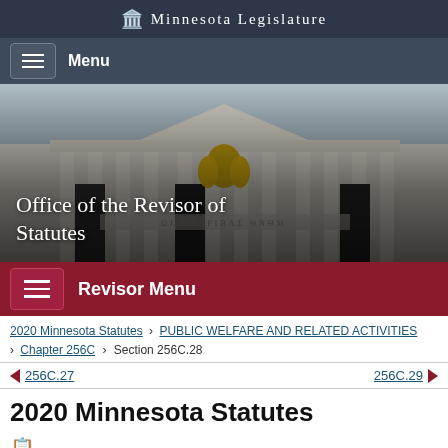Minnesota Legislature
Menu
[Figure (photo): Minnesota State Capitol building exterior with columns and golden statues, with overlay text 'Office of the Revisor of Statutes']
Revisor Menu
2020 Minnesota Statutes > PUBLIC WELFARE AND RELATED ACTIVITIES > Chapter 256C > Section 256C.28
256C.27  256C.29
2020 Minnesota Statutes